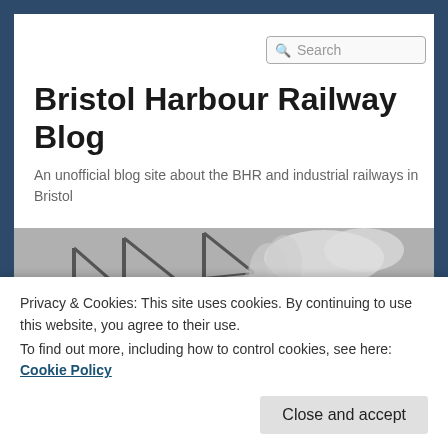Bristol Harbour Railway Blog
An unofficial blog site about the BHR and industrial railways in Bristol
[Figure (photo): Black and white photograph of Bristol Harbour with cranes, industrial buildings, and smoke/steam visible. A building with 'shed' text is visible on the right.]
Privacy & Cookies: This site uses cookies. By continuing to use this website, you agree to their use.
To find out more, including how to control cookies, see here: Cookie Policy
Close and accept